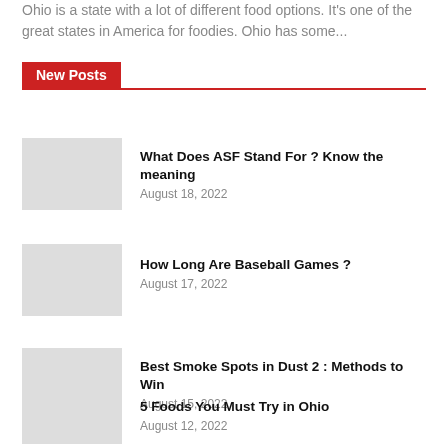Ohio is a state with a lot of different food options. It's one of the great states in America for foodies. Ohio has some...
New Posts
What Does ASF Stand For ? Know the meaning
August 18, 2022
How Long Are Baseball Games ?
August 17, 2022
Best Smoke Spots in Dust 2 : Methods to Win
August 15, 2022
5 Foods You Must Try in Ohio
August 12, 2022